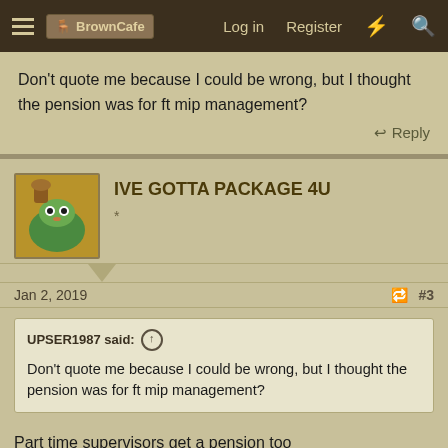BrownCafe — Log in Register
Don't quote me because I could be wrong, but I thought the pension was for ft mip management?
Reply
IVE GOTTA PACKAGE 4U
Jan 2, 2019  #3
UPSER1987 said: ↑
Don't quote me because I could be wrong, but I thought the pension was for ft mip management?
Part time supervisors get a pension too
Reply